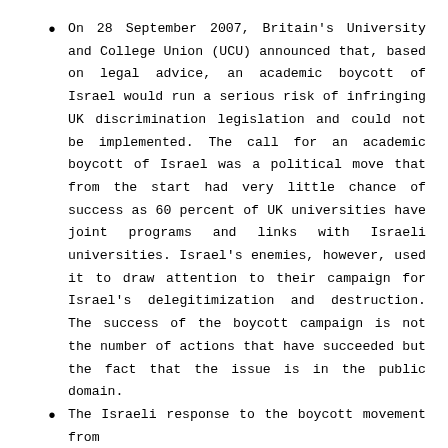On 28 September 2007, Britain's University and College Union (UCU) announced that, based on legal advice, an academic boycott of Israel would run a serious risk of infringing UK discrimination legislation and could not be implemented. The call for an academic boycott of Israel was a political move that from the start had very little chance of success as 60 percent of UK universities have joint programs and links with Israeli universities. Israel's enemies, however, used it to draw attention to their campaign for Israel's delegitimization and destruction. The success of the boycott campaign is not the number of actions that have succeeded but the fact that the issue is in the public domain.
The Israeli response to the boycott movement from